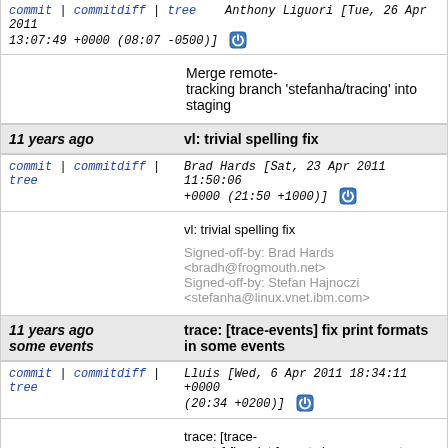commit | commitdiff | tree   Anthony Liguori [Tue, 26 Apr 2011 13:07:49 +0000 (08:07 -0500)]
Merge remote-tracking branch 'stefanha/tracing' into staging
11 years ago   vl: trivial spelling fix
commit | commitdiff | tree   Brad Hards [Sat, 23 Apr 2011 11:50:06 +0000 (21:50 +1000)]
vl: trivial spelling fix
Signed-off-by: Brad Hards <bradh@frogmouth.net>
Signed-off-by: Stefan Hajnoczi <stefanha@linux.vnet.ibm.com>
11 years ago   trace: [trace-events] fix print formats in some events
commit | commitdiff | tree   Lluis [Wed, 6 Apr 2011 18:34:11 +0000 (20:34 +0200)]
trace: [trace-events] fix print formats in some events
Signed-off-by: Lluis Vilanova <vilanova@ac.upc.edu>
Signed-off-by: Stefan Hajnoczi